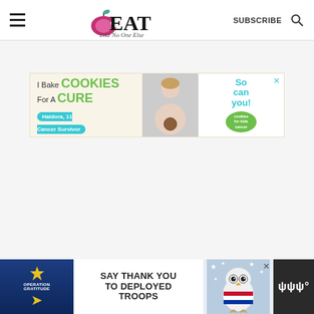EAT Like No One Else — SUBSCRIBE
[Figure (infographic): Advertisement banner: 'I Bake COOKIES For A CURE — Haldora, 11 Cancer Survivor — So can you! cookies for kids cancer']
[Figure (infographic): Footer advertisement bar: Operation Gratitude — SAY THANK YOU TO DEPLOYED TROOPS, with patriotic owl mascot image and weather widget]